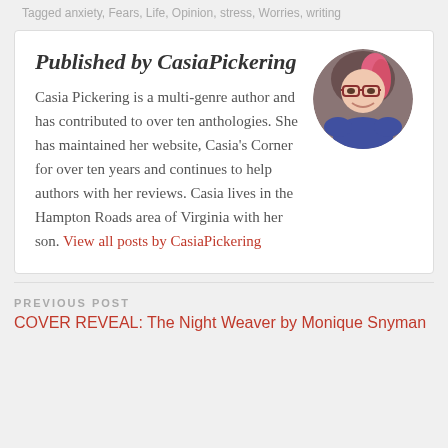Tagged anxiety, Fears, Life, Opinion, stress, Worries, writing
Published by CasiaPickering
[Figure (photo): Circular portrait photo of CasiaPickering, a woman with pink-streaked hair and glasses, wearing a blue top, smiling.]
Casia Pickering is a multi-genre author and has contributed to over ten anthologies. She has maintained her website, Casia's Corner for over ten years and continues to help authors with her reviews. Casia lives in the Hampton Roads area of Virginia with her son. View all posts by CasiaPickering
PREVIOUS POST
COVER REVEAL: The Night Weaver by Monique Snyman